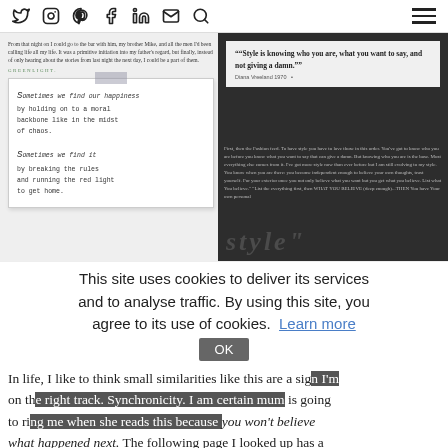Social nav icons: Twitter, Instagram, Pinterest, Facebook, LinkedIn, Email, Search, Menu
[Figure (screenshot): Collage of two images side by side: left side shows a white background with a small text block, a GREENLIGHT. tag in green, and a handwritten note on lined paper with tape at top reading 'Sometimes we find our happiness by holding on to a moral backbone like in the midst of chaos. Sometimes we find it by breaking the rules and running the red light to get home.' Right side is a dark background with a quote card reading '66Style is knowing who you are, what you want to say, and not giving a damn.99' attributed to Diane Vreeland 1970, followed by dark handwritten text about style and believing.]
This site uses cookies to deliver its services and to analyse traffic. By using this site, you agree to its use of cookies. Learn more OK
In life, I like to think small similarities like this are a sign I'm on the right track. Synchronicity. I am certain mum is going to ring me when she reads this because you won't believe what happened next. The following page I looked up has a poem on it, look at the date. It was written on May 8th, my